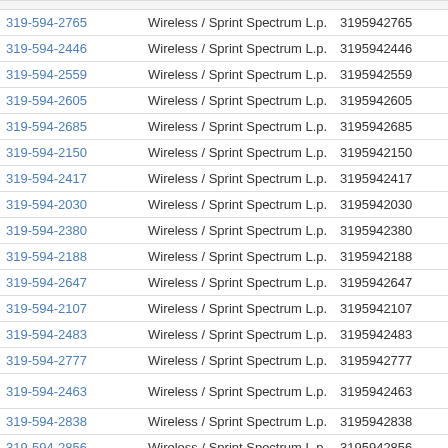| Phone | Carrier | Number |  |
| --- | --- | --- | --- |
| 319-594-2765 | Wireless / Sprint Spectrum L.p. | 3195942765 | View |
| 319-594-2446 | Wireless / Sprint Spectrum L.p. | 3195942446 | View |
| 319-594-2559 | Wireless / Sprint Spectrum L.p. | 3195942559 | View |
| 319-594-2605 | Wireless / Sprint Spectrum L.p. | 3195942605 | View |
| 319-594-2685 | Wireless / Sprint Spectrum L.p. | 3195942685 | View |
| 319-594-2150 | Wireless / Sprint Spectrum L.p. | 3195942150 | View |
| 319-594-2417 | Wireless / Sprint Spectrum L.p. | 3195942417 | View |
| 319-594-2030 | Wireless / Sprint Spectrum L.p. | 3195942030 | View |
| 319-594-2380 | Wireless / Sprint Spectrum L.p. | 3195942380 | View |
| 319-594-2188 | Wireless / Sprint Spectrum L.p. | 3195942188 | View |
| 319-594-2647 | Wireless / Sprint Spectrum L.p. | 3195942647 | View |
| 319-594-2107 | Wireless / Sprint Spectrum L.p. | 3195942107 | View |
| 319-594-2483 | Wireless / Sprint Spectrum L.p. | 3195942483 | View |
| 319-594-2777 | Wireless / Sprint Spectrum L.p. | 3195942777 | View |
| 319-594-2463 | Wireless / Sprint Spectrum L.p. | 3195942463 | iev |
| 319-594-2838 | Wireless / Sprint Spectrum L.p. | 3195942838 | View |
| 319-594-2856 | Wireless / Sprint Spectrum L.p. | 3195942856 | View |
| 319-594-2612 | Wireless / Sprint Spectrum L.p. | 3195942612 | View |